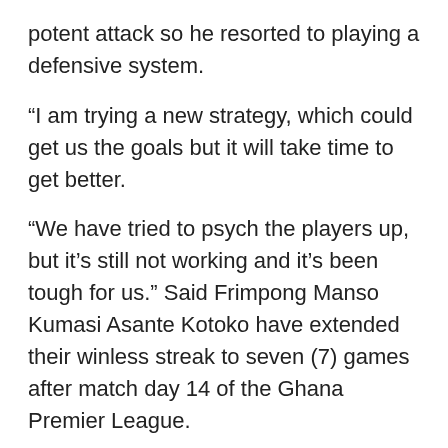potent attack so he resorted to playing a defensive system.
“I am trying a new strategy, which could get us the goals but it will take time to get better.
“We have tried to psych the players up, but it’s still not working and it’s been tough for us.” Said Frimpong Manso
Kumasi Asante Kotoko have extended their winless streak to seven (7) games after match day 14 of the Ghana Premier League.
Source: GNA